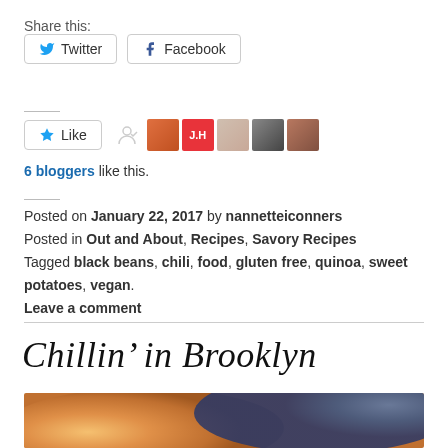Share this:
Twitter  Facebook
[Figure (screenshot): Like button with star icon, a small follow icon, and 5 blogger avatar thumbnails]
6 bloggers like this.
Posted on January 22, 2017 by nannetteiconners
Posted in Out and About, Recipes, Savory Recipes
Tagged black beans, chili, food, gluten free, quinoa, sweet potatoes, vegan.
Leave a comment
Chillin' in Brooklyn
[Figure (photo): Close-up photo of food with orange/golden tones on left and blue fabric on right]